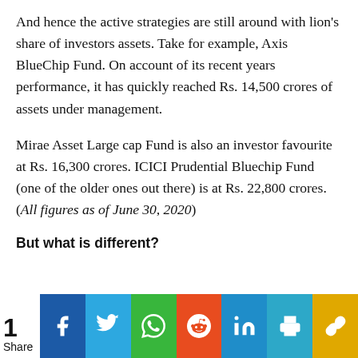And hence the active strategies are still around with lion's share of investors assets. Take for example, Axis BlueChip Fund. On account of its recent years performance, it has quickly reached Rs. 14,500 crores of assets under management.
Mirae Asset Large cap Fund is also an investor favourite at Rs. 16,300 crores. ICICI Prudential Bluechip Fund (one of the older ones out there) is at Rs. 22,800 crores. (All figures as of June 30, 2020)
But what is different?
[Figure (infographic): Social share bar with share count of 1 and icons for Facebook, Twitter, WhatsApp, Reddit, LinkedIn, Print, and Copy/Share]